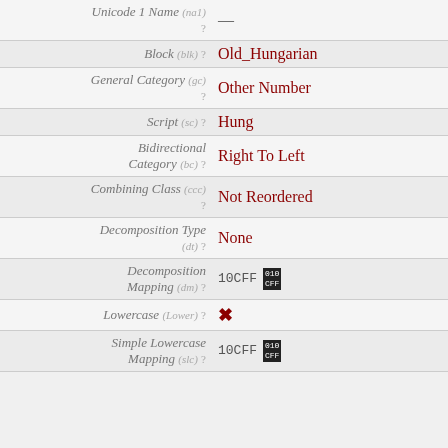| Property | Value |
| --- | --- |
| Unicode 1 Name (na1) ? | — |
| Block (blk) ? | Old_Hungarian |
| General Category (gc) ? | Other Number |
| Script (sc) ? | Hung |
| Bidirectional Category (bc) ? | Right To Left |
| Combining Class (ccc) ? | Not Reordered |
| Decomposition Type (dt) ? | None |
| Decomposition Mapping (dm) ? | 10CFF [badge] |
| Lowercase (Lower) ? | ✗ |
| Simple Lowercase Mapping (slc) ? | 10CFF [badge] |